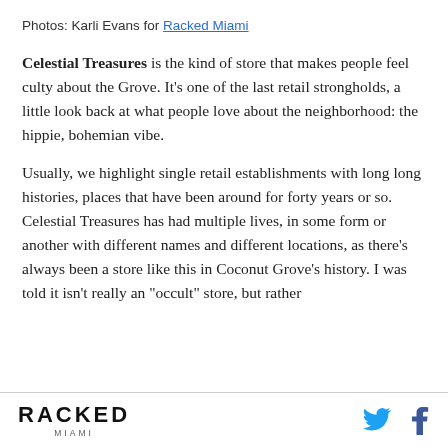Photos: Karli Evans for Racked Miami
Celestial Treasures is the kind of store that makes people feel culty about the Grove. It's one of the last retail strongholds, a little look back at what people love about the neighborhood: the hippie, bohemian vibe.
Usually, we highlight single retail establishments with long long histories, places that have been around for forty years or so. Celestial Treasures has had multiple lives, in some form or another with different names and different locations, as there's always been a store like this in Coconut Grove's history. I was told it isn't really an "occult" store, but rather
RACKED MIAMI